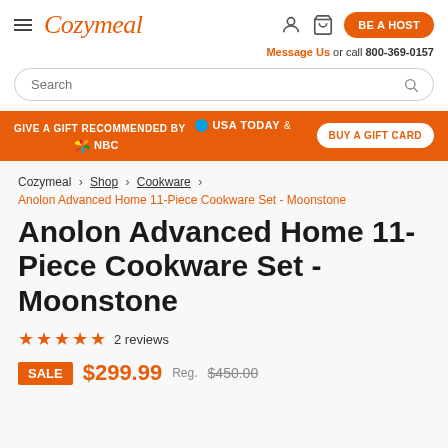Cozymeal — BE A HOST — Message Us or call 800-369-0157
Search
GIVE A GIFT RECOMMENDED BY USA TODAY & NBC — BUY A GIFT CARD
Cozymeal > Shop > Cookware > Anolon Advanced Home 11-Piece Cookware Set - Moonstone
Anolon Advanced Home 11-Piece Cookware Set - Moonstone
★★★★★ 2 reviews
SALE $299.99 Reg. $450.00